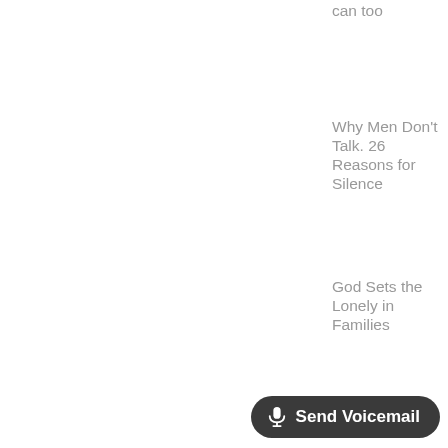can too
Why Men Don't Talk. 26 Reasons for Silence
God Sets the Lonely in Families
Send Voicemail